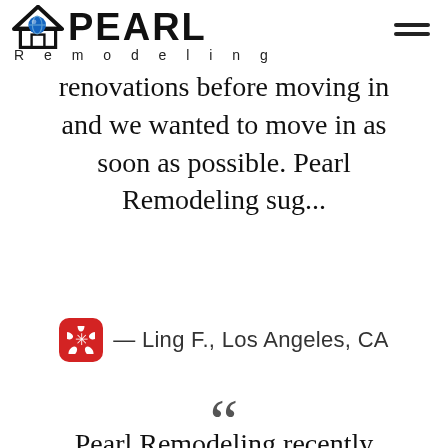[Figure (logo): Pearl Remodeling logo with house/roof icon, blue globe, and bold PEARL text above 'Remodeling' in spaced letters]
renovations before moving in and we wanted to move in as soon as possible. Pearl Remodeling sug...
— Ling F., Los Angeles, CA
““
Pearl Remodeling recently completed two flat roof repairs and a new deck for us. They look beautiful we have been remodeling for a while and have dealt with all sorts of chara ctor...